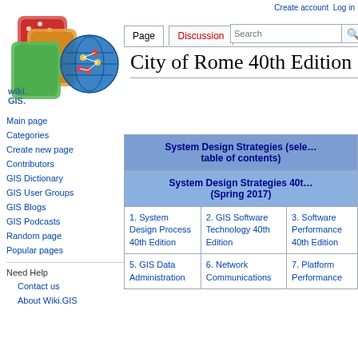[Figure (logo): Wiki.GIS.com logo with colorful overlapping card icons and a globe network icon]
Create account  Log in
Main page
Categories
Create new page
Contributors
GIS Dictionary
GIS User Groups
GIS Blogs
GIS Podcasts
Random page
Popular pages
Need Help
Contact us
About Wiki.GIS
City of Rome 40th Edition
| System Design Strategies (selected table of contents) | System Design Strategies 40th (Spring 2017) |
| --- | --- |
| 1. System Design Process 40th Edition | 2. GIS Software Technology 40th Edition | 3. Software Performance 40th Edition |
| 5. GIS Data Administration | 6. Network Communications | 7. Platform Performance |